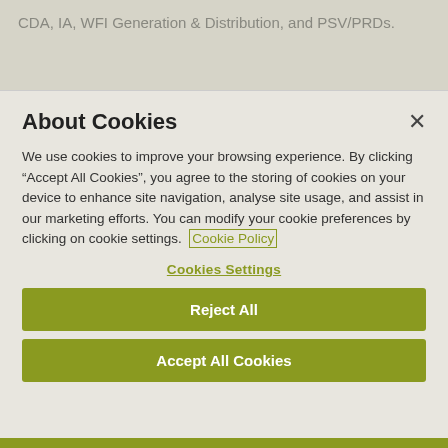CDA, IA, WFI Generation & Distribution, and PSV/PRDs.
About Cookies
We use cookies to improve your browsing experience. By clicking "Accept All Cookies", you agree to the storing of cookies on your device to enhance site navigation, analyse site usage, and assist in our marketing efforts. You can modify your cookie preferences by clicking on cookie settings. Cookie Policy
Cookies Settings
Reject All
Accept All Cookies